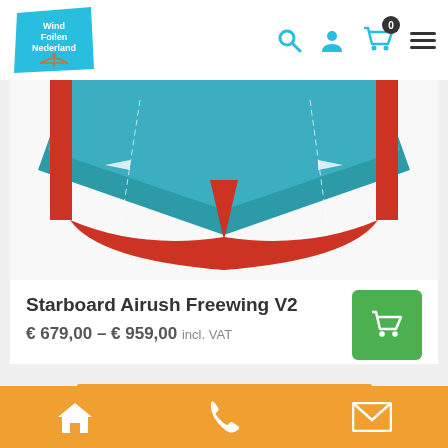[Figure (logo): WindFoilen Nederland logo - blue tilted rectangle with white text and orange foil icon]
[Figure (photo): Starboard Airush Freewing V2 wing foil product image - teal/red wing viewed from below]
Starboard Airush Freewing V2
€ 679,00 – € 959,00 incl. VAT
Home | Phone | Email navigation bar